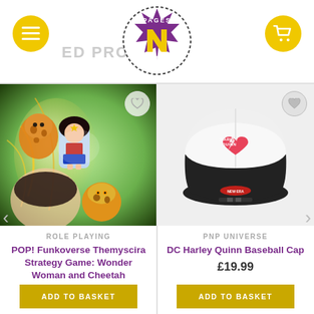Pages N Pixels - Related Products
[Figure (photo): POP! Funkoverse Themyscira product image showing Wonder Woman and Cheetah Funko Pop figures]
ROLE PLAYING
POP! Funkoverse Themyscira Strategy Game: Wonder Woman and Cheetah
£25.99
ADD TO BASKET
[Figure (photo): DC Harley Quinn Baseball Cap - white and black trucker cap with Harley Quinn heart logo]
PNP UNIVERSE
DC Harley Quinn Baseball Cap
£19.99
ADD TO BASKET